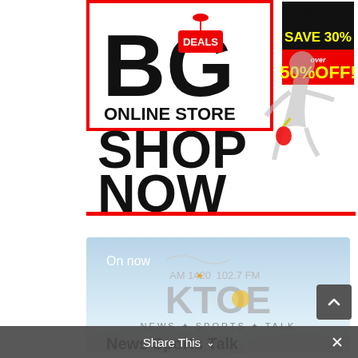[Figure (illustration): Big Deals Online Store advertisement banner with 'BIG DEALS ONLINE STORE' text, 'SHOP NOW' call to action, 'SAVE 30%' and 'over 50% OFF!' promotional tags, and a silhouette of a running woman with a handbag.]
[Figure (screenshot): KTOE radio station banner showing 'On now' text, AM 1420 • 102.7 FM, KTOE logo, NEWS SPORTS TALK tagline, and 'News Sports Talk' show title on a sky background.]
Share This
×